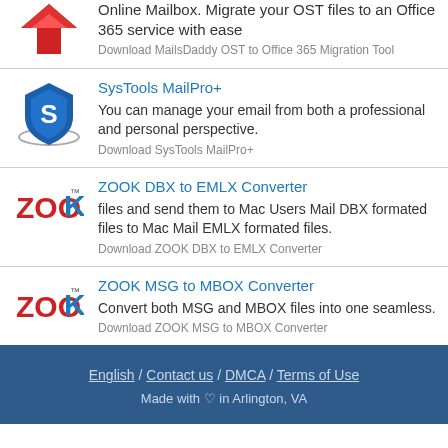Online Mailbox. Migrate your OST files to an Office 365 service with ease
Download MailsDaddy OST to Office 365 Migration Tool
SysTools MailPro+
You can manage your email from both a professional and personal perspective.
Download SysTools MailPro+
ZOOK DBX to EMLX Converter
files and send them to Mac Users Mail DBX formated files to Mac Mail EMLX formated files.
Download ZOOK DBX to EMLX Converter
ZOOK MSG to MBOX Converter
Convert both MSG and MBOX files into one seamless.
Download ZOOK MSG to MBOX Converter
English / Contact us / DMCA / Terms of Use
Made with ♡ in Arlington, VA